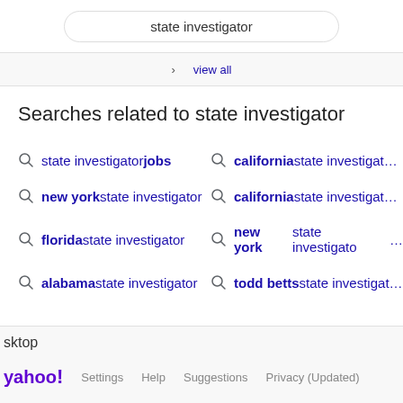state investigator
view all
Searches related to state investigator
state investigator jobs
new york state investigator
florida state investigator
alabama state investigator
california state investigator
california state investigator
new york state investigator
todd betts state investigator
1  2  3  4  5  Next >
sktop  yahoo!  Settings  Help  Suggestions  Privacy (Updated)